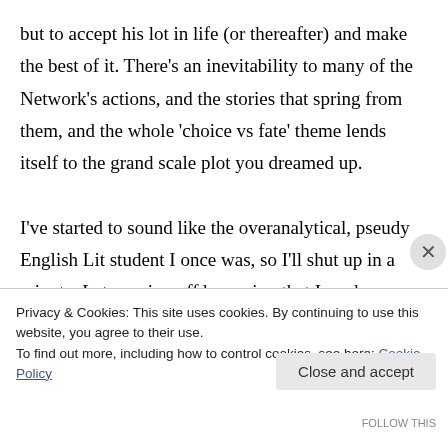but to accept his lot in life (or thereafter) and make the best of it. There's an inevitability to many of the Network's actions, and the stories that spring from them, and the whole 'choice vs fate' theme lends itself to the grand scale plot you dreamed up.

I've started to sound like the overanalytical, pseudy English Lit student I once was, so I'll shut up in a minute. Let me sign off by saying that I read an awful lot and the authors who
Privacy & Cookies: This site uses cookies. By continuing to use this website, you agree to their use.
To find out more, including how to control cookies, see here: Cookie Policy